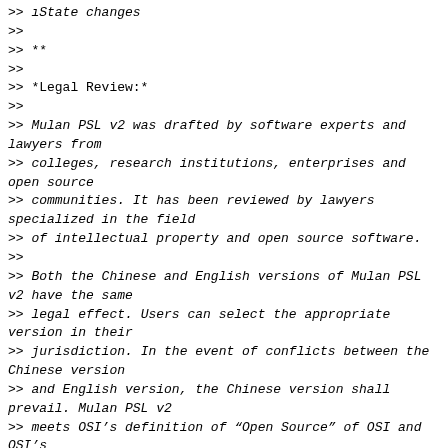>> ıState changes
>>
>> **
>>
>> *Legal Review:*
>>
>> Mulan PSL v2 was drafted by software experts and lawyers from
>> colleges, research institutions, enterprises and open source
>> communities. It has been reviewed by lawyers specialized in the field
>> of intellectual property and open source software.
>>
>> Both the Chinese and English versions of Mulan PSL v2 have the same
>> legal effect. Users can select the appropriate version in their
>> jurisdiction. In the event of conflicts between the Chinese version
>> and English version, the Chinese version shall prevail. Mulan PSL v2
>> meets OSI’s definition of “Open Source” of OSI and OSI’s
>> requirements. The rationale of the license is to create a license
>> with easy compliance, better compatibility, comprehensive patent
>> protection, and Chinese (not just English) friendly.
>>